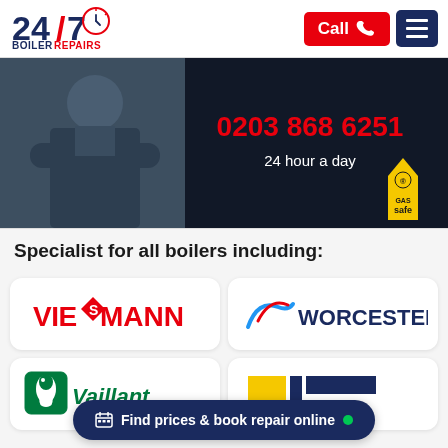[Figure (logo): 247 Boiler Repairs logo with clock graphic]
[Figure (other): Red Call button with phone icon and dark navy hamburger menu button]
[Figure (photo): Hero banner showing an engineer with arms crossed, phone number 0203 868 6251, '24 hour a day' text, and Gas Safe logo badge]
Specialist for all boilers including:
[Figure (logo): Viessmann boiler brand logo in red]
[Figure (logo): Worcester boiler brand logo in blue]
[Figure (logo): Vaillant boiler brand logo with kangaroo icon]
[Figure (logo): Partially visible boiler brand logo (yellow/blue)]
Find prices & book repair online